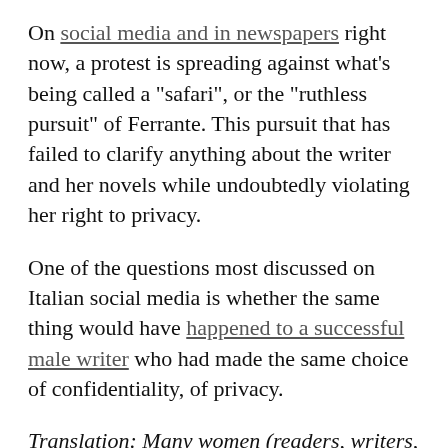On social media and in newspapers right now, a protest is spreading against what's being called a “safari”, or the “ruthless pursuit” of Ferrante. This pursuit that has failed to clarify anything about the writer and her novels while undoubtedly violating her right to privacy.
One of the questions most discussed on Italian social media is whether the same thing would have happened to a successful male writer who had made the same choice of confidentiality, of privacy.
Translation: Many women (readers, writers, journalists) from abroad speak of a patriarchal attack on the choices of an author.
The answer is almost certainly no, or at least not in this violent form, in this punitive way. Italian